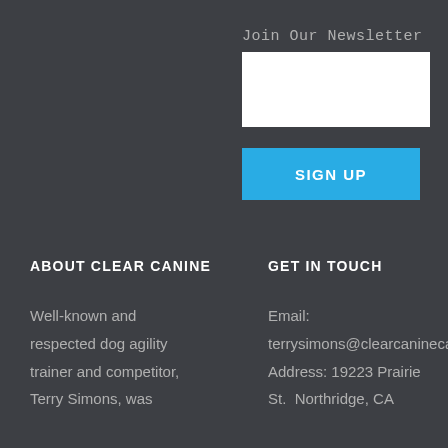Join Our Newsletter
[Figure (other): Newsletter email input field (white rectangle)]
SIGN UP
ABOUT CLEAR CANINE
GET IN TOUCH
Well-known and respected dog agility trainer and competitor, Terry Simons, was
Email: terrysimons@clearcanineca Address: 19223 Prairie St. Northridge, CA